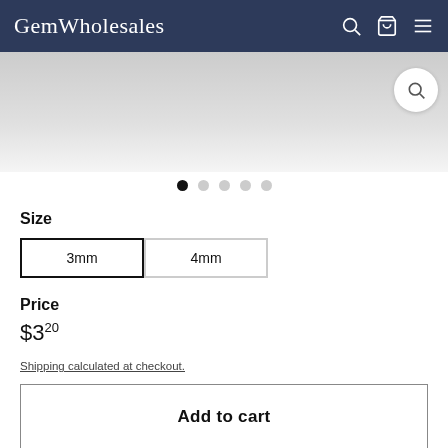GemWholesales
[Figure (photo): Product image area with gradient background and search icon overlay]
Size
3mm  4mm
Price
$3.20
Shipping calculated at checkout.
Add to cart